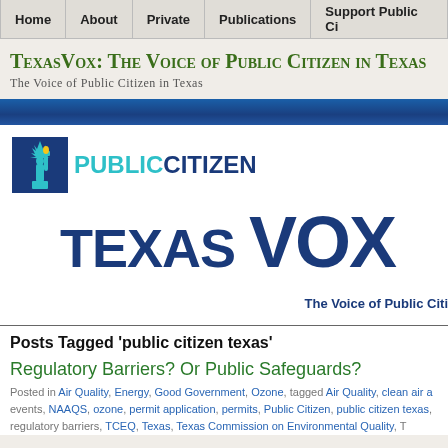Home | About | Private | Publications | Support Public Ci
TexasVox: The Voice of Public Citizen in Texas
The Voice of Public Citizen in Texas
[Figure (logo): TexasVox / Public Citizen combined logo with Statue of Liberty icon, 'PUBLIC CITIZEN' text in teal and dark blue, and large 'TEXAS VOX' text below with tagline 'The Voice of Public Citi']
Posts Tagged 'public citizen texas'
Regulatory Barriers? Or Public Safeguards?
Posted in Air Quality, Energy, Good Government, Ozone, tagged Air Quality, clean air a events, NAAQS, ozone, permit application, permits, Public Citizen, public citizen texas, regulatory barriers, TCEQ, Texas, Texas Commission on Environmental Quality, T